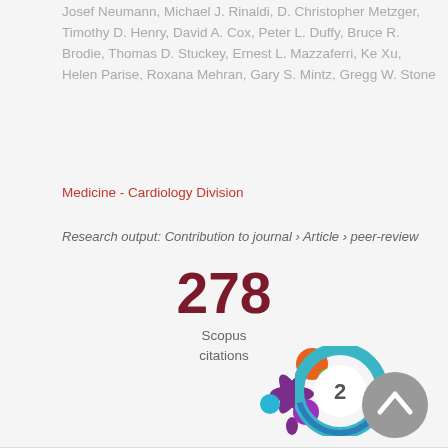Josef Neumann, Michael J. Rinaldi, D. Christopher Metzger, Timothy D. Henry, David A. Cox, Peter L. Duffy, Bruce R. Brodie, Thomas D. Stuckey, Ernest L. Mazzaferri, Ke Xu, Helen Parise, Roxana Mehran, Gary S. Mintz, Gregg W. Stone
Medicine - Cardiology Division
Research output: Contribution to journal › Article › peer-review
278
Scopus citations
[Figure (logo): PlumX Metrics logo — colorful splash with orange, green, blue, and purple circles]
[Figure (logo): Altmetric donut badge showing score 2 in teal/blue circular ring]
[Figure (other): Grey circular scroll-to-top button with upward chevron arrow]